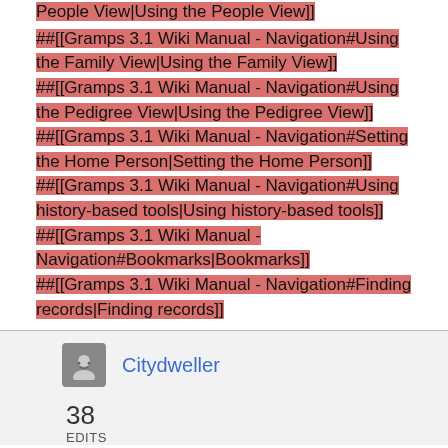##[[Gramps 3.1 Wiki Manual - Navigation#Using the People View|Using the People View]]
##[[Gramps 3.1 Wiki Manual - Navigation#Using the Family View|Using the Family View]]
##[[Gramps 3.1 Wiki Manual - Navigation#Using the Pedigree View|Using the Pedigree View]]
##[[Gramps 3.1 Wiki Manual - Navigation#Setting the Home Person|Setting the Home Person]]
##[[Gramps 3.1 Wiki Manual - Navigation#Using history-based tools|Using history-based tools]]
##[[Gramps 3.1 Wiki Manual - Navigation#Bookmarks|Bookmarks]]
##[[Gramps 3.1 Wiki Manual - Navigation#Finding records|Finding records]]
Citydweller
38 EDITS